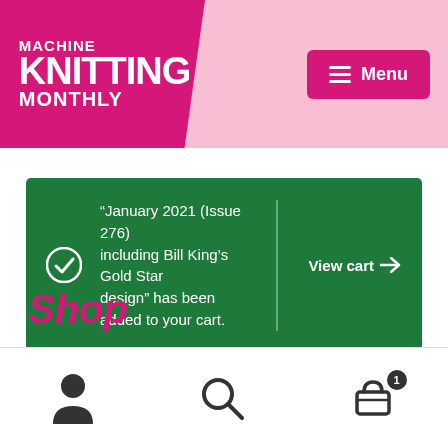Machine Knitting Monthly — Menu
“January 2021 (Issue 276) including Bill King’s Gold Star design” has been added to your cart. View cart →
Shop